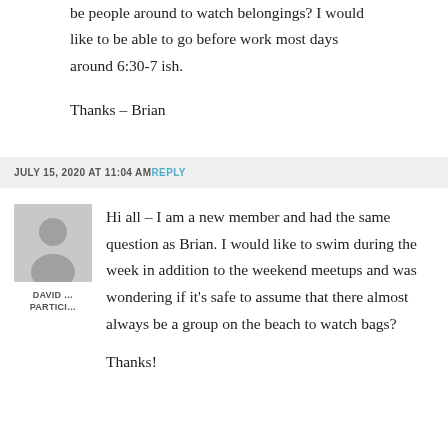be people around to watch belongings? I would like to be able to go before work most days around 6:30-7 ish.
Thanks – Brian
JULY 15, 2020 AT 11:04 AM REPLY
Hi all – I am a new member and had the same question as Brian. I would like to swim during the week in addition to the weekend meetups and was wondering if it's safe to assume that there almost always be a group on the beach to watch bags?
Thanks!